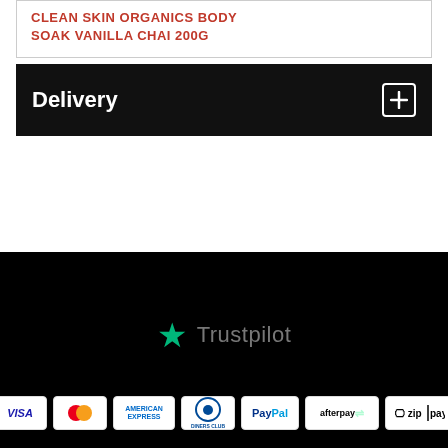CLEAN SKIN ORGANICS BODY SOAK VANILLA CHAI 200G
Delivery
[Figure (logo): Trustpilot logo with green star and grey text]
[Figure (other): Payment method icons: VISA, Mastercard, American Express, Diners Club, PayPal, afterpay, zip pay]